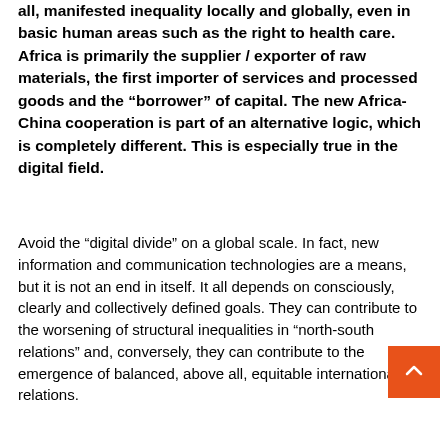all, manifested inequality locally and globally, even in basic human areas such as the right to health care. Africa is primarily the supplier / exporter of raw materials, the first importer of services and processed goods and the "borrower" of capital. The new Africa-China cooperation is part of an alternative logic, which is completely different. This is especially true in the digital field.
Avoid the “digital divide” on a global scale. In fact, new information and communication technologies are a means, but it is not an end in itself. It all depends on consciously, clearly and collectively defined goals. They can contribute to the worsening of structural inequalities in “north-south relations” and, conversely, they can contribute to the emergence of balanced, above all, equitable international relations.